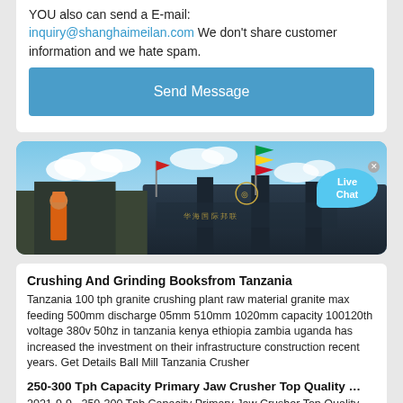YOU also can send a E-mail: inquiry@shanghaimeilan.com We don't share customer information and we hate spam.
Send Message
[Figure (photo): Outdoor photo of industrial crushing/grinding machinery with flags (green/yellow/red) on poles, blue sky with clouds, and a worker in orange clothing. A 'Live Chat' speech bubble overlay appears in the top right corner.]
Crushing And Grinding Booksfrom Tanzania
Tanzania 100 tph granite crushing plant raw material granite max feeding 500mm discharge 05mm 510mm 1020mm capacity 100120th voltage 380v 50hz in tanzania kenya ethiopia zambia uganda has increased the investment on their infrastructure construction recent years. Get Details Ball Mill Tanzania Crusher
250-300 Tph Capacity Primary Jaw Crusher Top Quality …
2021-9-9 · 250-300 Tph Capacity Primary Jaw Crusher Top Quality 1.100 X 850 Mm Opening Size For Sale. Dewo machinery can provides complete set of crushing and